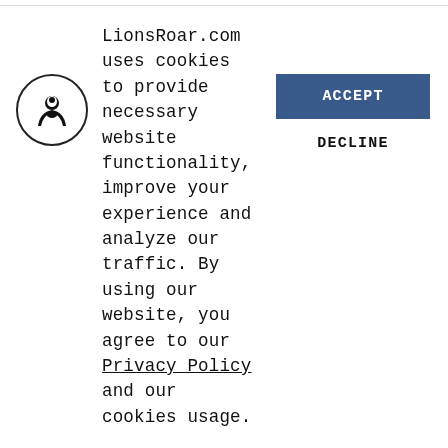where we use everything to fill up the space. On the other hand, if we are in touch with basic goodness, we are always relating to the world directly, choicelessly, whether the energy of the situation demands a destructive or a constructive response. The idea of renunciation is to relate with whatever arises with a sense of sadness and
LionsRoar.com uses cookies to provide necessary website functionality, improve your experience and analyze our traffic. By using our website, you agree to our Privacy Policy and our cookies usage.
[Figure (logo): Circular icon with a silhouette of a seated Buddha figure in black on white background]
ACCEPT
DECLINE